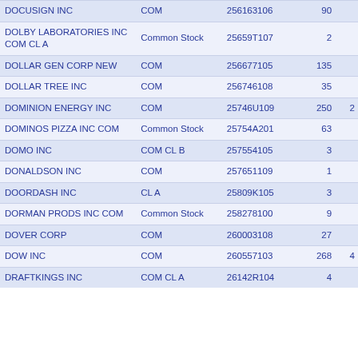| Name | Security Type | CUSIP | Shares |  |
| --- | --- | --- | --- | --- |
| DOCUSIGN INC | COM | 256163106 | 90 |  |
| DOLBY LABORATORIES INC COM CL A | Common Stock | 25659T107 | 2 |  |
| DOLLAR GEN CORP NEW | COM | 256677105 | 135 |  |
| DOLLAR TREE INC | COM | 256746108 | 35 |  |
| DOMINION ENERGY INC | COM | 25746U109 | 250 | 2 |
| DOMINOS PIZZA INC COM | Common Stock | 25754A201 | 63 |  |
| DOMO INC | COM CL B | 257554105 | 3 |  |
| DONALDSON INC | COM | 257651109 | 1 |  |
| DOORDASH INC | CL A | 25809K105 | 3 |  |
| DORMAN PRODS INC COM | Common Stock | 258278100 | 9 |  |
| DOVER CORP | COM | 260003108 | 27 |  |
| DOW INC | COM | 260557103 | 268 | 4 |
| DRAFTKINGS INC | COM CL A | 26142R104 | 4 |  |